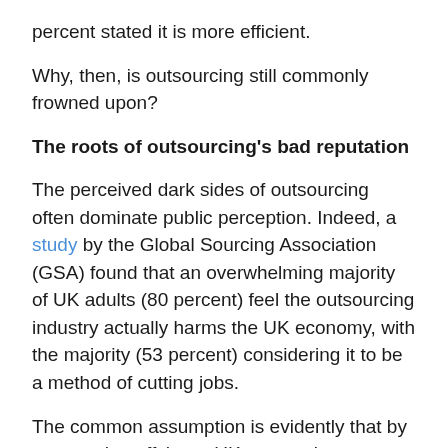percent stated it is more efficient.
Why, then, is outsourcing still commonly frowned upon?
The roots of outsourcing's bad reputation
The perceived dark sides of outsourcing often dominate public perception. Indeed, a study by the Global Sourcing Association (GSA) found that an overwhelming majority of UK adults (80 percent) feel the outsourcing industry actually harms the UK economy, with the majority (53 percent) considering it to be a method of cutting jobs.
The common assumption is evidently that by outsourcing offshore, UK companies are denying nationals job opportunities, which is in turn hindering the potential growth of the economy.